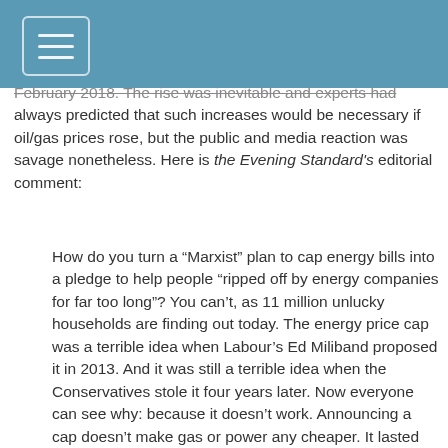[Navigation header bar with hamburger menu icon]
February 2018. The rise was inevitable and experts had always predicted that such increases would be necessary if oil/gas prices rose, but the public and media reaction was savage nonetheless. Here is the Evening Standard's editorial comment:
How do you turn a “Marxist” plan to cap energy bills into a pledge to help people “ripped off by energy companies for far too long”? You can’t, as 11 million unlucky households are finding out today. The energy price cap was a terrible idea when Labour’s Ed Miliband proposed it in 2013. And it was still a terrible idea when the Conservatives stole it four years later. Now everyone can see why: because it doesn’t work. Announcing a cap doesn’t make gas or power any cheaper. It lasted only three months